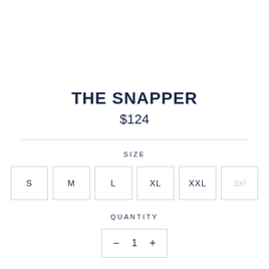THE SNAPPER
$124
SIZE
S  M  L  XL  XXL  3XL
QUANTITY
−  1  +